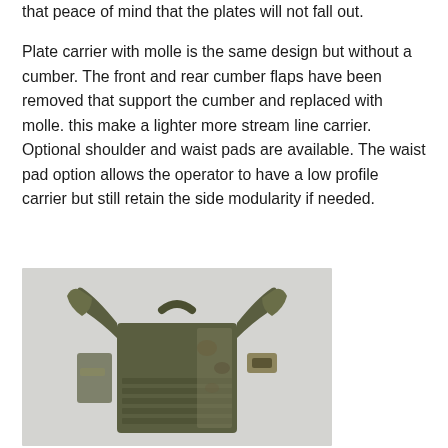that peace of mind that the plates will not fall out.

Plate carrier with molle is the same design but without a cumber. The front and rear cumber flaps have been removed that support the cumber and replaced with molle. this make a lighter more stream line carrier. Optional shoulder and waist pads are available. The waist pad option allows the operator to have a low profile carrier but still retain the side modularity if needed.
[Figure (photo): A tactical plate carrier vest in olive drab / camouflage pattern (A-TACS AU or similar), photographed from the front showing MOLLE webbing, shoulder straps, and side panels without a cummerbund.]